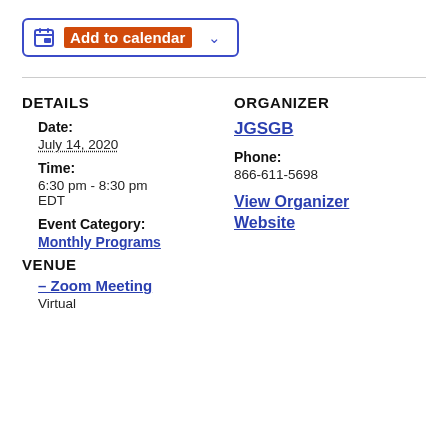[Figure (other): Add to calendar button with calendar icon, orange highlighted text label, and dropdown arrow, styled with blue border]
DETAILS
ORGANIZER
Date:
July 14, 2020
JGSGB
Time:
6:30 pm - 8:30 pm EDT
Phone:
866-611-5698
Event Category:
Monthly Programs
View Organizer Website
VENUE
– Zoom Meeting
Virtual